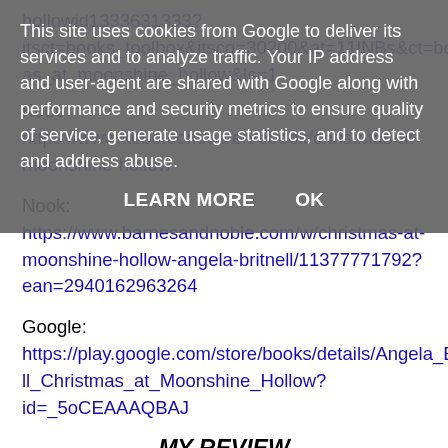This site uses cookies from Google to deliver its services and to analyze traffic. Your IP address and user-agent are shared with Google along with performance and security metrics to ensure quality of service, generate usage statistics, and to detect and address abuse.
LEARN MORE   OK
hollowid1333631333?itsct=books_toolbox&itscg=30200&at=11lNBs&ct=books_christmas_at_moonshine_hollow&ls=1
Kobo: https://www.kobo.com/us/en/ebook/christmas-at-moonshine-hollow
Nook: https://www.barnesandnoble.com/w/christmas-at-moonshine-hollow-angela-britnell/11377771792?ean=2940162963264
Google: https://play.google.com/store/books/details/Angela_Britnell_Christmas_at_Moonshine_Hollow?id=_5oCEAAAQBAJ
MY REVIEW